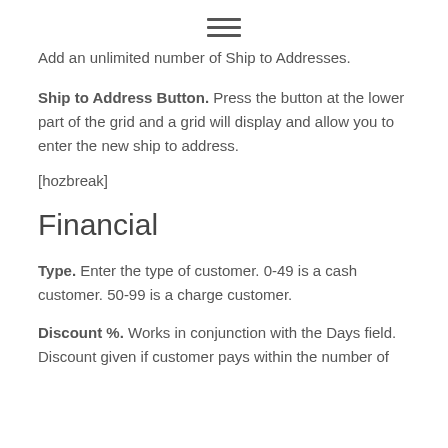≡
Add an unlimited number of Ship to Addresses.
Ship to Address Button.  Press the button at the lower part of the grid and a grid will display and allow you to enter the new ship to address.
[hozbreak]
Financial
Type.  Enter the type of customer.  0-49 is a cash customer.  50-99 is a charge customer.
Discount %.  Works in conjunction with the Days field.  Discount given if customer pays within the number of